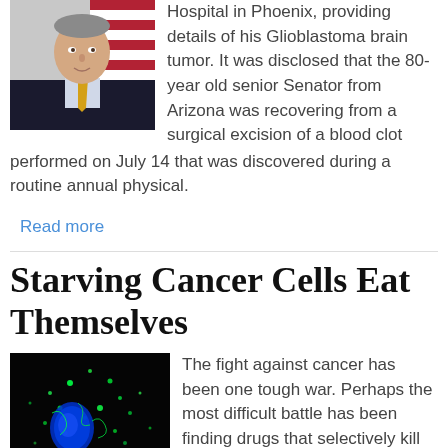[Figure (photo): Portrait photo of a man in a dark suit with a yellow tie, in front of an American flag background]
Hospital in Phoenix, providing details of his Glioblastoma brain tumor. It was disclosed that the 80-year old senior Senator from Arizona was recovering from a surgical excision of a blood clot performed on July 14 that was discovered during a routine annual physical.
Read more
Starving Cancer Cells Eat Themselves
[Figure (photo): Microscopy image of a cancer cell on a black background, showing green fluorescent structures and a blue-stained nucleus]
The fight against cancer has been one tough war. Perhaps the most difficult battle has been finding drugs that selectively kill cancer cells while sparing the rest. A research